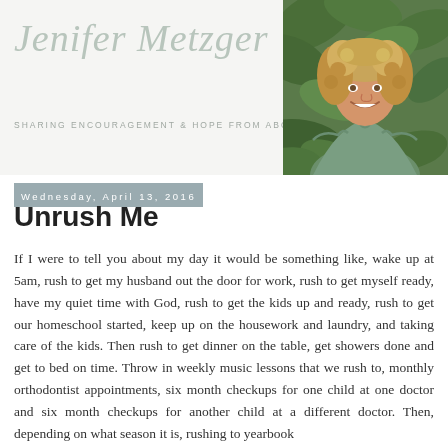Jenifer Metzger — SHARING ENCOURAGEMENT & HOPE FROM ABOVE
[Figure (photo): Portrait photo of a woman with curly blonde hair, smiling, wearing a sage green top, with green leafy background]
Wednesday, April 13, 2016
Unrush Me
If I were to tell you about my day it would be something like, wake up at 5am, rush to get my husband out the door for work, rush to get myself ready, have my quiet time with God, rush to get the kids up and ready, rush to get our homeschool started, keep up on the housework and laundry, and taking care of the kids. Then rush to get dinner on the table, get showers done and get to bed on time. Throw in weekly music lessons that we rush to, monthly orthodontist appointments, six month checkups for one child at one doctor and six month checkups for another child at a different doctor. Then, depending on what season it is, rushing to yearbook